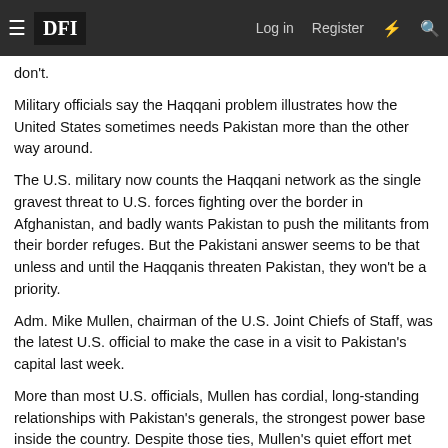DFI | Log in | Register
don't.
Military officials say the Haqqani problem illustrates how the United States sometimes needs Pakistan more than the other way around.
The U.S. military now counts the Haqqani network as the single gravest threat to U.S. forces fighting over the border in Afghanistan, and badly wants Pakistan to push the militants from their border refuges. But the Pakistani answer seems to be that unless and until the Haqqanis threaten Pakistan, they won't be a priority.
Adm. Mike Mullen, chairman of the U.S. Joint Chiefs of Staff, was the latest U.S. official to make the case in a visit to Pakistan's capital last week.
More than most U.S. officials, Mullen has cordial, long-standing relationships with Pakistan's generals, the strongest power base inside the country. Despite those ties, Mullen's quiet effort met